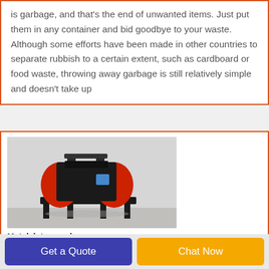is garbage, and that's the end of unwanted items. Just put them in any container and bid goodbye to your waste. Although some efforts have been made in other countries to separate rubbish to a certain extent, such as cardboard or food waste, throwing away garbage is still relatively simple and doesn't take up
[Figure (photo): A red and black industrial recycling machine (wire stripper/separator) on a light grey background, sitting on a stand.]
Metalsletsrecycle
Get a Quote
Chat Now